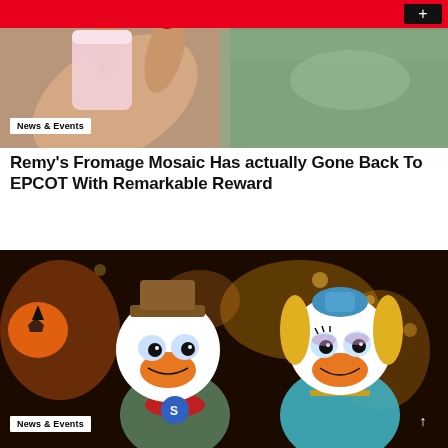[Figure (photo): A hand with red nails holding a pink drink cup near a water body at EPCOT]
News & Events
Remy's Fromage Mosaic Has actually Gone Back To EPCOT With Remarkable Reward
[Figure (photo): Two Disney character mascots dressed in Halloween costumes — Donald Duck and Daisy Duck in ornate outfits — surrounded by Halloween decorations including jack-o-lanterns]
News & Events